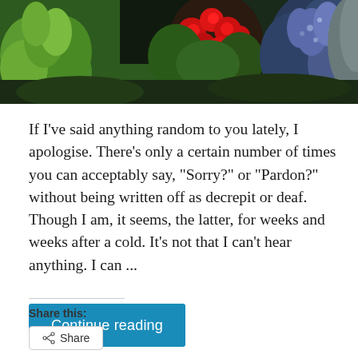[Figure (photo): Garden photo showing green foliage, red flowers (geraniums/roses), and blue/purple flowering plants against a dark background]
If I've said anything random to you lately, I apologise. There's only a certain number of times you can acceptably say, "Sorry?" or "Pardon?" without being written off as decrepit or deaf. Though I am, it seems, the latter, for weeks and weeks after a cold. It's not that I can't hear anything. I can ...
Continue reading
Share this:
Share